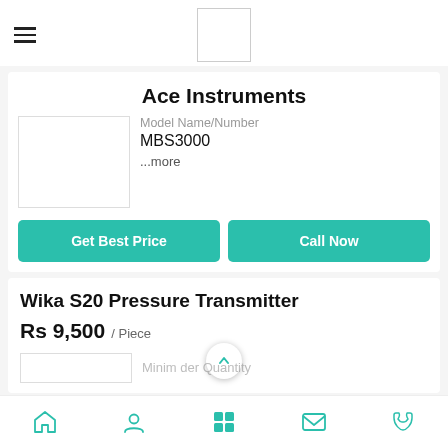Ace Instruments
[Figure (logo): Company logo placeholder box (white square with border)]
Ace Instruments
Model Name/Number
MBS3000
...more
Get Best Price
Call Now
Wika S20 Pressure Transmitter
Rs 9,500 / Piece
Minimum Order Quantity